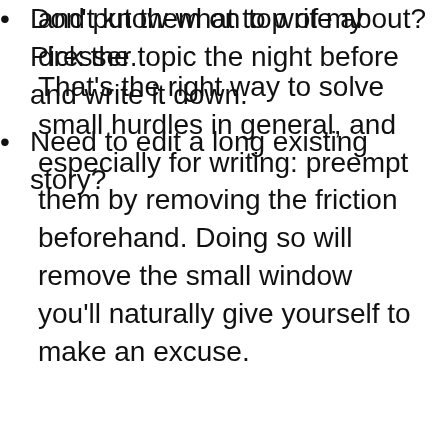prepare my gym clothes the night before and put them on top of my dresser.
That's the right way to solve small hurdles in general, and especially for writing: preempt them by removing the friction beforehand. Doing so will remove the small window you'll naturally give yourself to make an excuse.
Don't know what to write about? Pick the topic the night before and write it down.
Need to edit a long existing story?